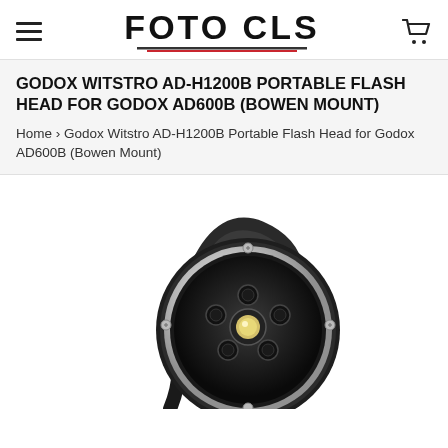FOTO CLS
GODOX WITSTRO AD-H1200B PORTABLE FLASH HEAD FOR GODOX AD600B (BOWEN MOUNT)
Home › Godox Witstro AD-H1200B Portable Flash Head for Godox AD600B (Bowen Mount)
[Figure (photo): Godox Witstro AD-H1200B portable flash head product photo, showing a circular silver and black flash head unit with a central LED/flash bulb surrounded by five smaller modeling lights, with a black cable attached, against a white background.]